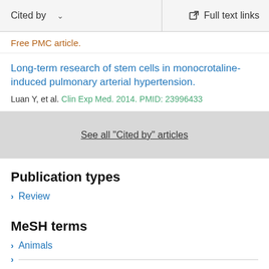Cited by   Full text links
Free PMC article.
Long-term research of stem cells in monocrotaline-induced pulmonary arterial hypertension.
Luan Y, et al. Clin Exp Med. 2014. PMID: 23996433
See all "Cited by" articles
Publication types
Review
MeSH terms
Animals